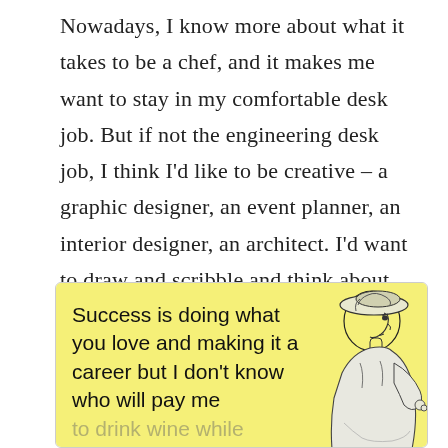Nowadays, I know more about what it takes to be a chef, and it makes me want to stay in my comfortable desk job.  But if not the engineering desk job, I think I'd like to be creative – a graphic designer, an event planner, an interior designer, an architect.  I'd want to draw and scribble and think about colors and shapes and light, help people and immerse myself in glorious creative details.  Can I be a professional Pinterest-er?
[Figure (illustration): A vintage-style ecard with yellow background showing a line-drawn woman in profile wearing a hat. Text reads: 'Success is doing what you love and making it a career but I don't know who will pay me to drink wine while looking at Pinterest...']